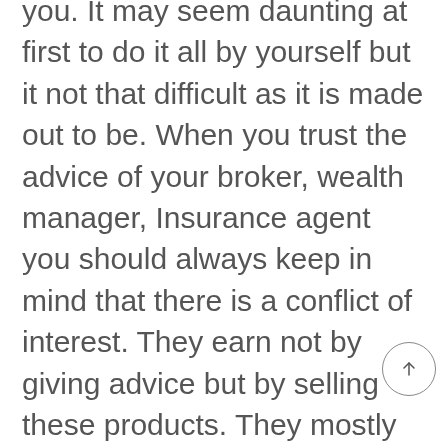you. It may seem daunting at first to do it all by yourself but it not that difficult as it is made out to be. When you trust the advice of your broker, wealth manager, Insurance agent you should always keep in mind that there is a conflict of interest. They earn not by giving advice but by selling these products. They mostly pitch product which offers them the maximum commission. So, the only way to avoid this is to take control yourself.
Keep learning, take out half an hour or so to sharpen your financial knowledge and soon enough you will learn the tricks of the trade to keep you ahead of the game. If you want to take